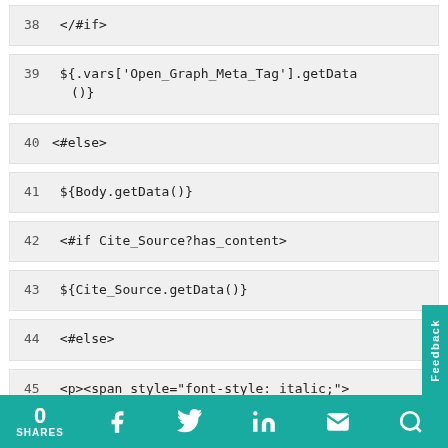38    </#if>
39    ${.vars['Open_Graph_Meta_Tag'].getData()
()}
40<#else>
41    ${Body.getData()}
42    <#if Cite_Source?has_content>
43        ${Cite_Source.getData()}
44        <#else>
45        <p><span style="font-style: italic;">
0 SHARES  [Facebook] [Twitter] [LinkedIn] [Email] [Search]  Feedback